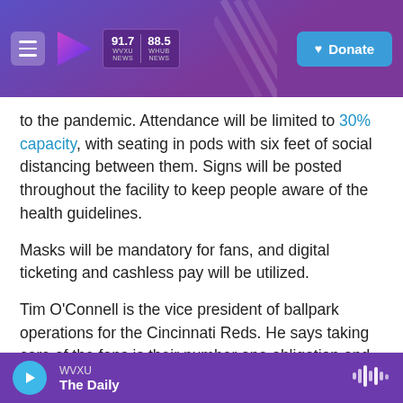WVXU NEWS 91.7 | WHUB NEWS 88.5 | Donate
to the pandemic. Attendance will be limited to 30% capacity, with seating in pods with six feet of social distancing between them. Signs will be posted throughout the facility to keep people aware of the health guidelines.
Masks will be mandatory for fans, and digital ticketing and cashless pay will be utilized.
Tim O'Connell is the vice president of ballpark operations for the Cincinnati Reds. He says taking care of the fans is their number one obligation and believes the safety plan will work.
WVXU The Daily